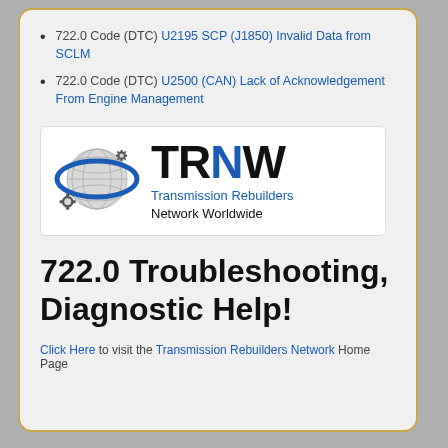722.0 Code (DTC) U2195 SCP (J1850) Invalid Data from SCLM
722.0 Code (DTC) U2500 (CAN) Lack of Acknowledgement From Engine Management
[Figure (logo): TRNW - Transmission Rebuilders Network Worldwide logo with globe and gear graphic]
722.0 Troubleshooting, Diagnostic Help!
Click Here to visit the Transmission Rebuilders Network Home Page